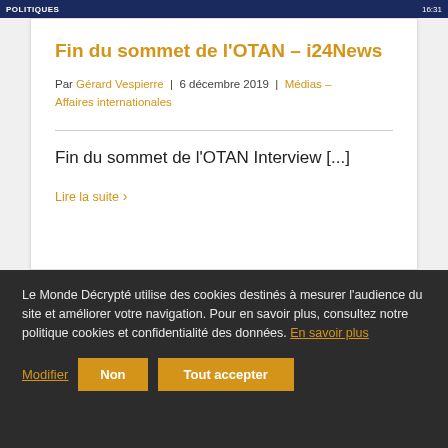POLITIQUES
Fin du sommet de l'OTAN – i24News
Par Gérard Vespierre | 6 décembre 2019 | Médias – Affaires internationales
Fin du sommet de l'OTAN Interview [...]
Lire la suite
Le Monde Décrypté utilise des cookies destinés à mesurer l'audience du site et améliorer votre navigation. Pour en savoir plus, consultez notre politique cookies et confidentialité des données. En savoir plus
Modifier
Non
Tout accepter